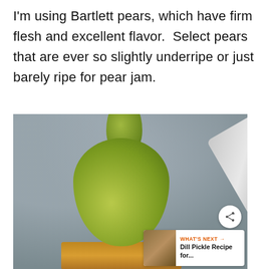I'm using Bartlett pears, which have firm flesh and excellent flavor.  Select pears that are ever so slightly underripe or just barely ripe for pear jam.
[Figure (photo): Close-up photo of a green Bartlett pear resting on a jar of jam, with a silver spoon beside it. A 'What's Next' overlay appears in the bottom-right corner pointing to a 'Dill Pickle Recipe for...' video thumbnail.]